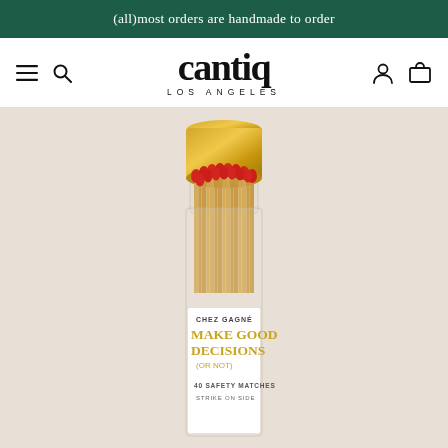(all)most orders are handmade to order
[Figure (logo): Cantiq Los Angeles logo with hamburger menu, search icon, user icon, and cart icon in navigation bar]
[Figure (photo): A clear glass perfume-style bottle with a gold cap, filled with red-tipped wooden safety matches. The bottle label reads: CHEZ GAGNÉ, MAKE GOOD DECISIONS (OR NOT), 40 SAFETY MATCHES, STRIKE ON SIDE]